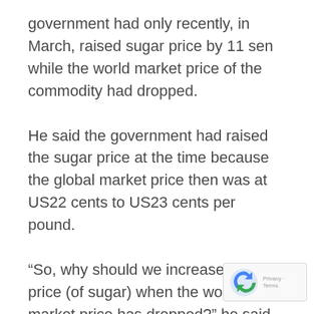government had only recently, in March, raised sugar price by 11 sen while the world market price of the commodity had dropped.
He said the government had raised the sugar price at the time because the global market price then was at US22 cents to US23 cents per pound.
“So, why should we increase the price (of sugar) when the world market price has dropped?” he said, referring to the current